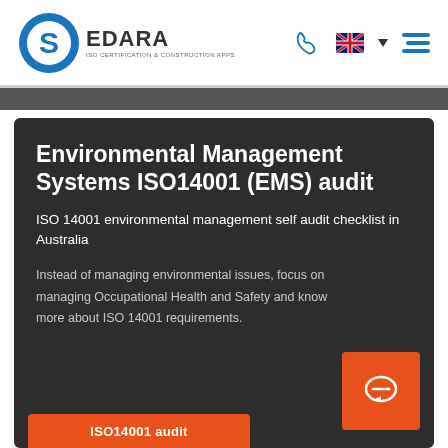[Figure (logo): Sedara logo — circular blue S icon with EDARA brand name and subtitle 'ISO CERTIFICATION & CONSTRUCTION APPS']
Environmental Management Systems ISO14001 (EMS) audit
ISO 14001 environmental management self audit checklist in Australia
Instead of managing environmental issues, focus on managing Occupational Health and Safety and know more about ISO 14001 requirements.
ISO14001 audit